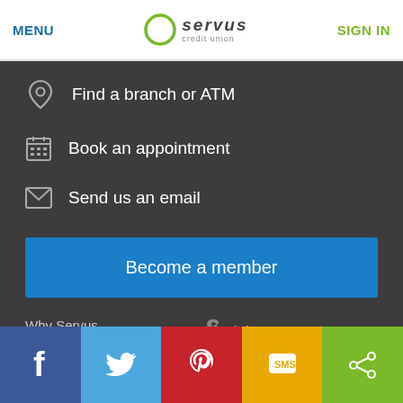MENU | Servus credit union | SIGN IN
Find a branch or ATM
Book an appointment
Send us an email
Become a member
Why Servus
Security
iPhone app
Android app
Facebook | Twitter | Pinterest | SMS | Share